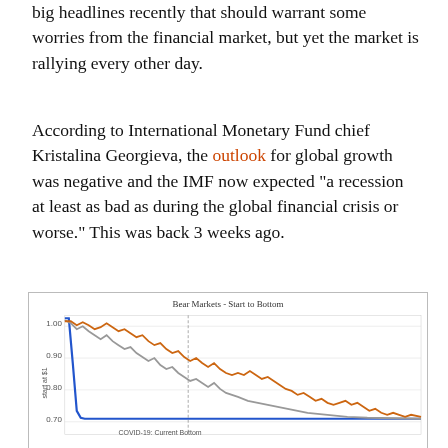big headlines recently that should warrant some worries from the financial market, but yet the market is rallying every other day.
According to International Monetary Fund chief Kristalina Georgieva, the outlook for global growth was negative and the IMF now expected “a recession at least as bad as during the global financial crisis or worse.” This was back 3 weeks ago.
[Figure (line-chart): Line chart showing Bear Markets - Start to Bottom with three lines: a steep blue line, a gray line, and an orange line descending from 1.00 toward 0.70, with a label 'COVID-19: Current Bottom' at the bottom. Y-axis shows values 1.00, 0.90, 0.80, 0.70.]